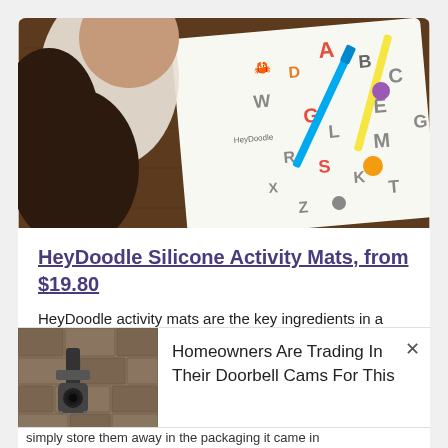[Figure (photo): Overhead view of a child coloring on a HeyDoodle alphabet silicone activity mat with colorful markers on a wooden table]
HeyDoodle Silicone Activity Mats, from $19.80
HeyDoodle activity mats are the key ingredients in a recipe for a peaceful meal out or extended transits.
[Figure (photo): Photo of a security camera mounted on a stone wall]
Homeowners Are Trading In Their Doorbell Cams For This
simply store them away in the packaging it came in